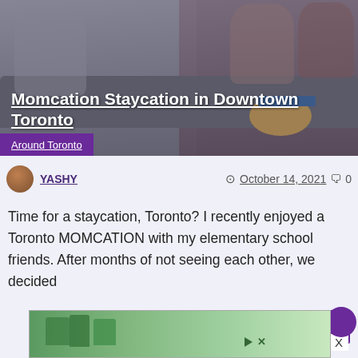[Figure (photo): Photo of people sitting on a couch in a living room setting with a round wooden table and a book on it]
Momcation Staycation in Downtown Toronto
Around Toronto
YASHY   October 14, 2021   0
Time for a staycation, Toronto? I recently enjoyed a Toronto MOMCATION with my elementary school friends. After months of not seeing each other, we decided
Read More
[Figure (photo): Advertisement banner with tropical/resort imagery]